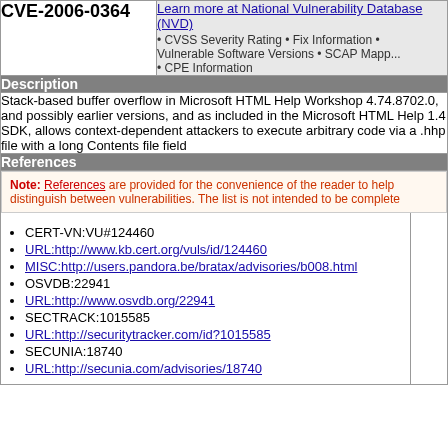| CVE-ID | Learn more / NVD |
| --- | --- |
| CVE-2006-0364 | Learn more at National Vulnerability Database (NVD)
• CVSS Severity Rating • Fix Information • Vulnerable Software Versions • SCAP Mapp... • CPE Information |
Description
Stack-based buffer overflow in Microsoft HTML Help Workshop 4.74.8702.0, and possibly earlier versions, and as included in the Microsoft HTML Help 1.4 SDK, allows context-dependent attackers to execute arbitrary code via a .hhp file with a long Contents file field
References
Note: References are provided for the convenience of the reader to help distinguish between vulnerabilities. The list is not intended to be complete
CERT-VN:VU#124460
URL:http://www.kb.cert.org/vuls/id/124460
MISC:http://users.pandora.be/bratax/advisories/b008.html
OSVDB:22941
URL:http://www.osvdb.org/22941
SECTRACK:1015585
URL:http://securitytracker.com/id?1015585
SECUNIA:18740
URL:http://secunia.com/advisories/18740